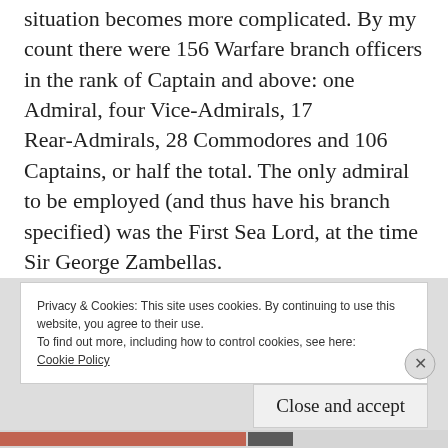situation becomes more complicated. By my count there were 156 Warfare branch officers in the rank of Captain and above: one Admiral, four Vice-Admirals, 17 Rear-Admirals, 28 Commodores and 106 Captains, or half the total. The only admiral to be employed (and thus have his branch specified) was the First Sea Lord, at the time Sir George Zambellas.
Privacy & Cookies: This site uses cookies. By continuing to use this website, you agree to their use.
To find out more, including how to control cookies, see here: Cookie Policy